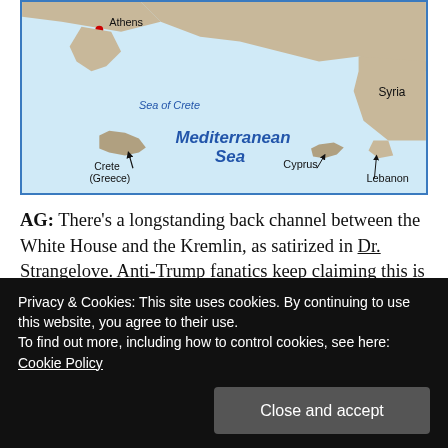[Figure (map): Map showing the Eastern Mediterranean region including Athens, Sea of Crete, Mediterranean Sea, Crete (Greece), Cyprus, Syria, Lebanon, with 'ASIA' labeled in red at top right. Blue water, tan/beige land masses.]
AG: There's a longstanding back channel between the White House and the Kremlin, as satirized in Dr. Strangelove. Anti-Trump fanatics keep claiming this is new and traitorous, but it's long established. Obama and Putin used it to keep Russian and US soldiers from firing on one another instead of the jihadists both claimed to be fighting in Syria. Kennedy and Khrushchev used it to keep the Bay of Pigs crisis from escalating into a nuclear war. Shouldn't Trump and
Privacy & Cookies: This site uses cookies. By continuing to use this website, you agree to their use.
To find out more, including how to control cookies, see here: Cookie Policy
this atmosphere of anti-Russian hysteria such channels